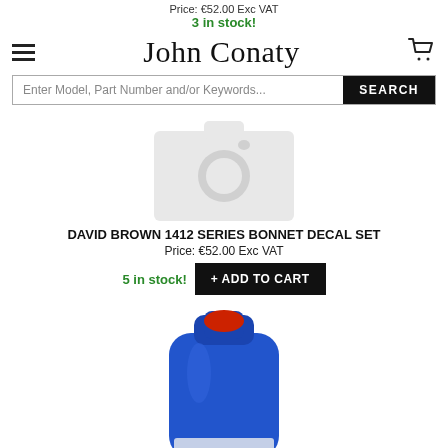Price: €52.00 Exc VAT
3 in stock!
John Conaty
Enter Model, Part Number and/or Keywords... SEARCH
[Figure (photo): Placeholder camera icon for product image (no photo available)]
DAVID BROWN 1412 SERIES BONNET DECAL SET
Price: €52.00 Exc VAT
5 in stock!
+ ADD TO CART
[Figure (photo): Blue plastic jerry can with red cap, product photo]